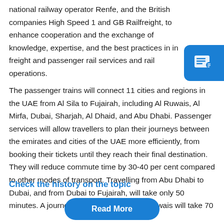national railway operator Renfe, and the British companies High Speed 1 and GB Railfreight, to enhance cooperation and the exchange of knowledge, expertise, and the best practices in in freight and passenger rail services and rail operations. The passenger trains will connect 11 cities and regions in the UAE from Al Sila to Fujairah, including Al Ruwais, Al Mirfa, Dubai, Sharjah, Al Dhaid, and Abu Dhabi. Passenger services will allow travellers to plan their journeys between the emirates and cities of the UAE more efficiently, from booking their tickets until they reach their final destination. They will reduce commute time by 30-40 per cent compared to other modes of transport. Travelling from Abu Dhabi to Dubai, and from Dubai to Fujairah, will take only 50 minutes. A journey from Abu Dhabi to Al Ruwais will take 70
Check the history on the topic
Read More